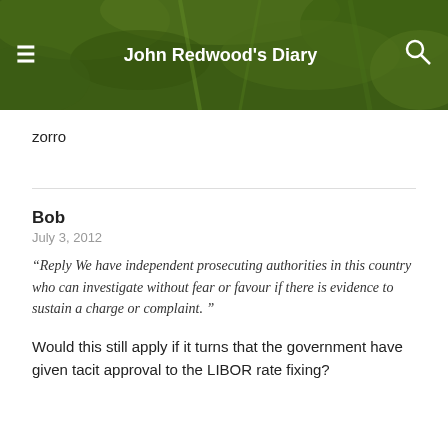John Redwood's Diary
zorro
Bob
July 3, 2012
“Reply We have independent prosecuting authorities in this country who can investigate without fear or favour if there is evidence to sustain a charge or complaint. “
Would this still apply if it turns that the government have given tacit approval to the LIBOR rate fixing?